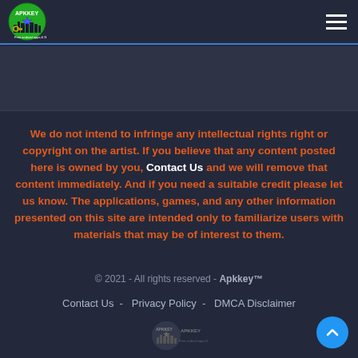Apkkey - Free Android Apps & Games
We do not intend to infringe any intellectual rights right or copyright on the artist. If you believe that any content posted here is owned by you, Contact Us and we will remove that content immediately. And if you need a suitable credit please let us know. The applications, games, and any other information presented on this site are intended only to familiarize users with materials that may be of interest to them.
© 2021 - All rights reserved - Apkkey™
Contact Us  -  Privacy Policy  -  DMCA Disclaimer
[Figure (logo): Apkkey watermark logo in gray]